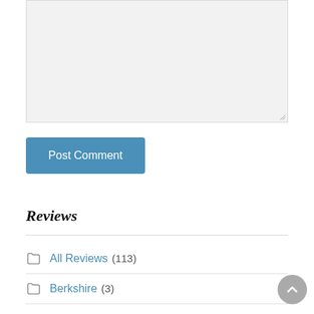[Figure (screenshot): Empty textarea input box with light gray background and resize handle in the bottom-right corner]
Post Comment
Reviews
All Reviews (113)
Berkshire (3)